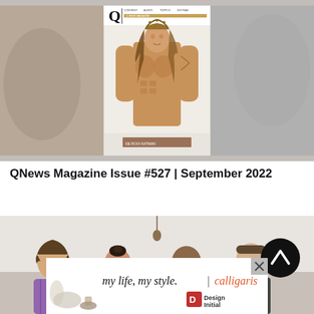[Figure (photo): Magazine cover of QNews Issue #527 September 2022 showing a shirtless muscular man with long hair wearing a crown, with blurred copies on either side]
QNews Magazine Issue #527 | September 2022
[Figure (photo): Group photo of four people sitting on a couch in a home setting — one man with long curly hair, a woman in pink, a bald man, and another man — with a scroll-up button overlay]
[Figure (infographic): Advertisement banner reading 'my life, my style. | calligaris' with Designinitial logo and an X close button]